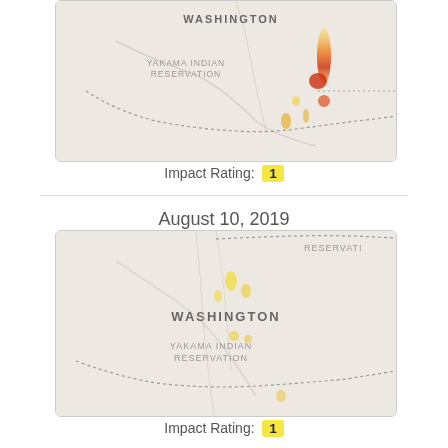[Figure (map): Map showing Washington state area with Yakama Indian Reservation. Heat map overlay showing fire/impact areas in red-orange-yellow near eastern portion of reservation boundary.]
Impact Rating: 1
August 10, 2019
[Figure (map): Map showing Washington state area with Yakama Indian Reservation label at top and Washington label in center. Zoomed-out view with yellow heat spots. Dotted reservation boundary visible.]
Impact Rating: 1